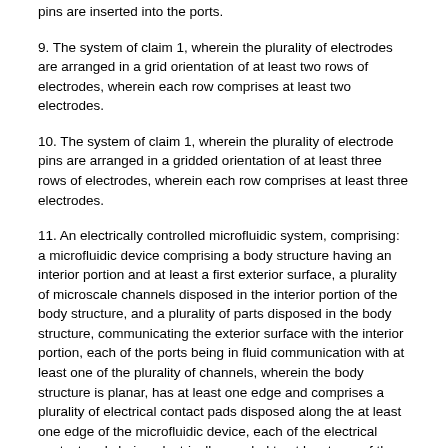pins are inserted into the ports.
9. The system of claim 1, wherein the plurality of electrodes are arranged in a grid orientation of at least two rows of electrodes, wherein each row comprises at least two electrodes.
10. The system of claim 1, wherein the plurality of electrode pins are arranged in a gridded orientation of at least three rows of electrodes, wherein each row comprises at least three electrodes.
11. An electrically controlled microfluidic system, comprising: a microfluidic device comprising a body structure having an interior portion and at least a first exterior surface, a plurality of microscale channels disposed in the interior portion of the body structure, and a plurality of parts disposed in the body structure, communicating the exterior surface with the interior portion, each of the ports being in fluid communication with at least one of the plurality of channels, wherein the body structure is planar, has at least one edge and comprises a plurality of electrical contact pads disposed along the at least one edge of the microfluidic device, each of the electrical contact pads being electrically coupled to at least one of the plurality of ports; and
an electrical control system comprising a plurality of electrical leads, each of